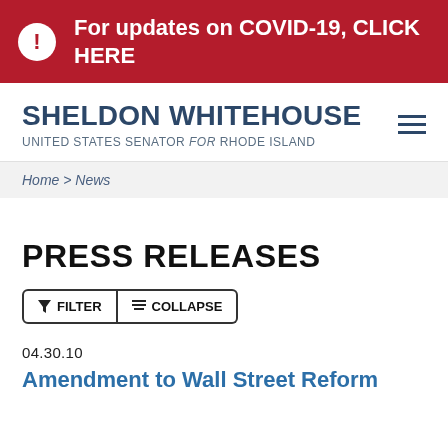For updates on COVID-19, CLICK HERE
SHELDON WHITEHOUSE
UNITED STATES SENATOR for RHODE ISLAND
Home > News
PRESS RELEASES
FILTER  COLLAPSE
04.30.10
Amendment to Wall Street Reform